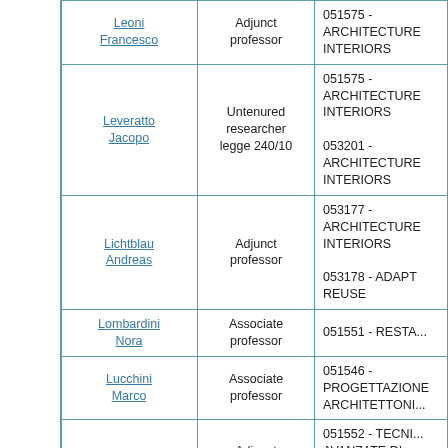| Name | Position | Course |
| --- | --- | --- |
| Leoni Francesco | Adjunct professor | 051575 - ARCHITECTURE INTERIORS |
| Leveratto Jacopo | Untenured researcher legge 240/10 | 051575 - ARCHITECTURE INTERIORS
053201 - ARCHITECTURE INTERIORS |
| Lichtblau Andreas | Adjunct professor | 053177 - ARCHITECTURE INTERIORS
053178 - ADAPT REUSE |
| Lombardini Nora | Associate professor | 051551 - RESTA... |
| Lucchini Marco | Associate professor | 051546 - PROGETTAZIONE ARCHITETTONI... |
| Luce Fabio | Adjunct professor | 051552 - TECNICHE AVANZATE DI RILIEVO E RAPPRESENTAZ... |
| Luengo Anon Monica | Adjunct professor | 053182 - METHODS AND PROCESSES FOR CONSERVA... |
| Lunati Angelo | Untenured researcher | 051565 - ELEMENTS OF ARCHITECTURE TYPOLOGY |